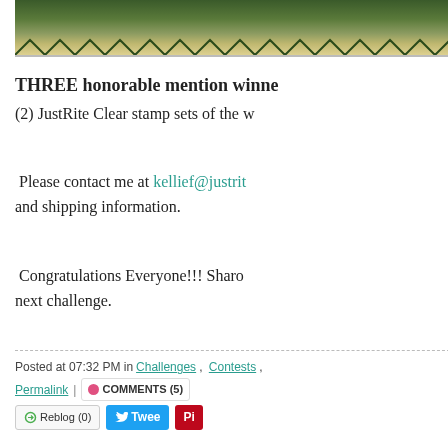[Figure (photo): Partial view of a decorative card with dark green zigzag pattern at top]
THREE honorable mention winne... (2) JustRite Clear stamp sets of the w...
Please contact me at kellief@justrit... and shipping information.
Congratulations Everyone!!! Sharo... next challenge.
Posted at 07:32 PM in Challenges, Contests, ... | Permalink | COMMENTS (5) | Reblog (0) | Tweet | Pin
Masculine Birthday with guest...
First I want to send a very special Th... Leyendekker  for inspiring us this w... is always an honor when Tosha pick... card!!!  You can find weekly inspirat... Talks with Tosh...